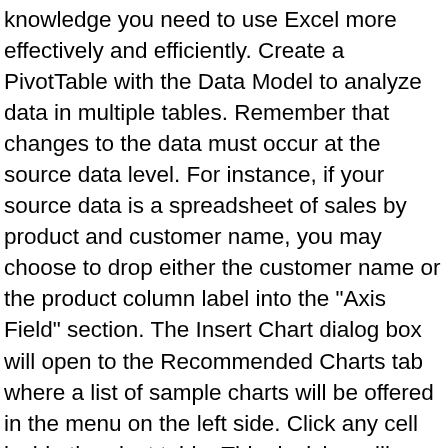knowledge you need to use Excel more effectively and efficiently. Create a PivotTable with the Data Model to analyze data in multiple tables. Remember that changes to the data must occur at the source data level. For instance, if your source data is a spreadsheet of sales by product and customer name, you may choose to drop either the customer name or the product column label into the "Axis Field" section. The Insert Chart dialog box will open to the Recommended Charts tab where a list of sample charts will be offered in the menu on the left side. Click any cell inside the pivot table. This decision will determine how you craft your pivot chart. Your pivot chart will actually be created from the source data supplying your pivot table, rather than the pivot table itself. Choose chart options from the top menu. If you received a catalog, email or other communication piece, please enter the Express Code to quickly find your training solution. The less cluttered your pivot chart is, the more effective it will be in communicating your point. Fill out the form below to request onsite training. This pivot chart